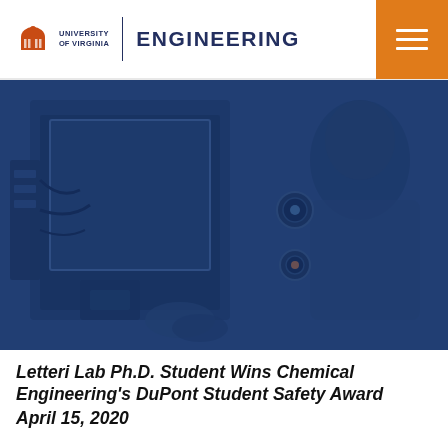University of Virginia Engineering
[Figure (photo): A researcher or student working in a laboratory setting, shown with lab equipment under a fume hood or safety cabinet. The image has a dark blue overlay tint.]
Letteri Lab Ph.D. Student Wins Chemical Engineering's DuPont Student Safety Award
April 15, 2020